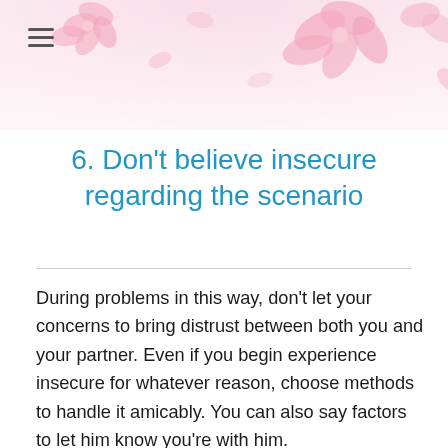[Figure (illustration): Pink floral decorative header banner with cherry blossom flowers on light pink gradient background, with hamburger menu icon at top left]
6. Don't believe insecure regarding the scenario
During problems in this way, don't let your concerns to bring distrust between both you and your partner. Even if you begin experience insecure for whatever reason, choose methods to handle it amicably. You can also say factors to let him know you're with him.
Its a painful and sensitive period additionally the final thing you want to do is actually beginning having worries concerning your husband's faithfulness. When you are unconsciously doing that, state it aloud to your, and